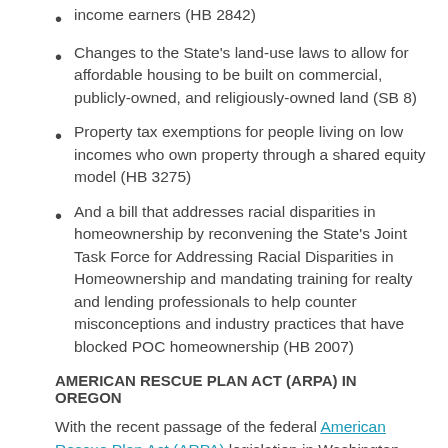income earners (HB 2842)
Changes to the State's land-use laws to allow for affordable housing to be built on commercial, publicly-owned, and religiously-owned land (SB 8)
Property tax exemptions for people living on low incomes who own property through a shared equity model (HB 3275)
And a bill that addresses racial disparities in homeownership by reconvening the State's Joint Task Force for Addressing Racial Disparities in Homeownership and mandating training for realty and lending professionals to help counter misconceptions and industry practices that have blocked POC homeownership (HB 2007)
AMERICAN RESCUE PLAN ACT (ARPA) IN OREGON
With the recent passage of the federal American Rescue Plan Act (ARPA) legislation in Washington D.C., Habitat has been working hard to ensure that legislators of all levels prioritize affordable homeownership development. As part of the $1.9